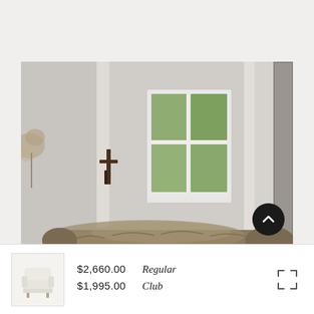[Figure (photo): Interior room scene with neutral grey walls, a window with six panes showing green foliage outside, a dark sculptural wall decoration to the left, a large brown/taupe furry textured sofa or chair at the bottom, and a dried floral arrangement on the far left. A dark door frame is visible on the right edge.]
[Figure (photo): Small thumbnail image of a white slipcovered armchair with wooden legs.]
$2,660.00  Regular
$1,995.00  Club
[Figure (other): Expand/fullscreen icon with outward-pointing arrows in four corners.]